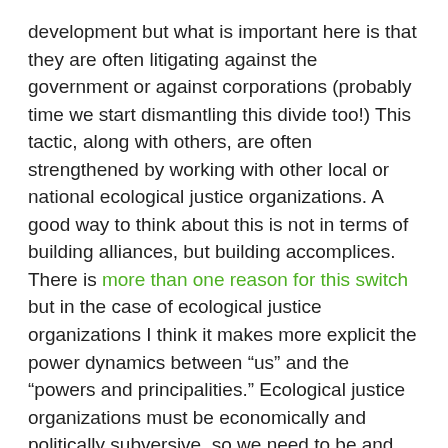development but what is important here is that they are often litigating against the government or against corporations (probably time we start dismantling this divide too!) This tactic, along with others, are often strengthened by working with other local or national ecological justice organizations. A good way to think about this is not in terms of building alliances, but building accomplices. There is more than one reason for this switch but in the case of ecological justice organizations I think it makes more explicit the power dynamics between “us” and the “powers and principalities.” Ecological justice organizations must be economically and politically subversive, so we need to be and make accomplices, not allies.
I would warn against initiatives that try to make an ecological justice organization more diverse to avoid looking like a whitewashed tomb. As mentioned above this can result in tokenism but when we recognize the social, economic, racial, and political intersections of ecological injustice and the